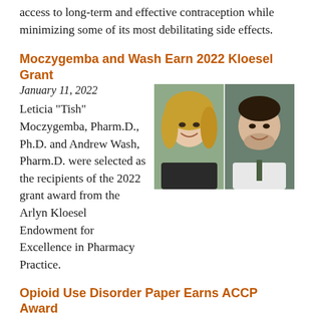access to long-term and effective contraception while minimizing some of its most debilitating side effects.
Moczygemba and Wash Earn 2022 Kloesel Grant
January 11, 2022
Leticia "Tish" Moczygemba, Pharm.D., Ph.D. and Andrew Wash, Pharm.D. were selected as the recipients of the 2022 grant award from the Arlyn Kloesel Endowment for Excellence in Pharmacy Practice.
[Figure (photo): Headshots of two people side by side: a woman with long blonde hair smiling, and a man in a white coat smiling.]
Opioid Use Disorder Paper Earns ACCP Award
October 8, 2021
A paper from UT College of Pharmacy researchers was awarded the 2021 Outstanding Paper of the Year from the American College of Clinical Pharmacy
[Figure (photo): A box of Naloxone Hydrochloride vials opened to show multiple orange-capped vials inside.]